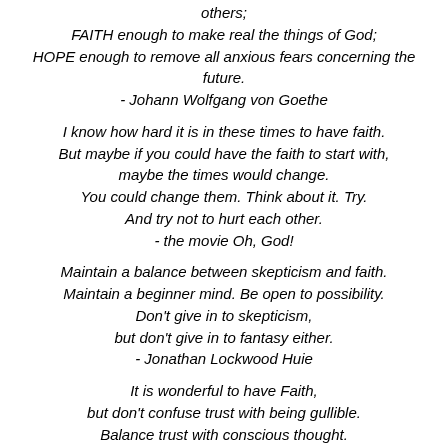others;
FAITH enough to make real the things of God;
HOPE enough to remove all anxious fears concerning the future.
- Johann Wolfgang von Goethe
I know how hard it is in these times to have faith.
But maybe if you could have the faith to start with,
maybe the times would change.
You could change them. Think about it. Try.
And try not to hurt each other.
- the movie Oh, God!
Maintain a balance between skepticism and faith.
Maintain a beginner mind. Be open to possibility.
Don't give in to skepticism,
but don't give in to fantasy either.
- Jonathan Lockwood Huie
It is wonderful to have Faith,
but don't confuse trust with being gullible.
Balance trust with conscious thought.
- Jonathan Lockwood Huie
"Being practical" is the antithesis of having faith and love.